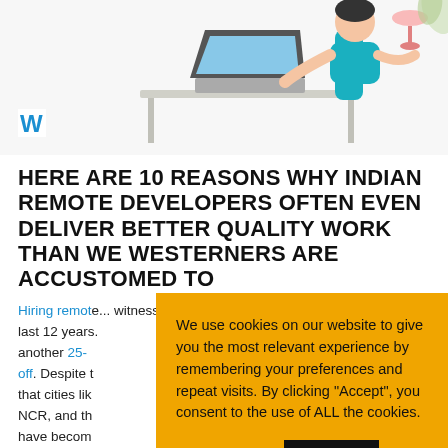[Figure (illustration): Illustration of a person working at a desk with a laptop, in a teal/blue and pink color scheme, with a white background]
HERE ARE 10 REASONS WHY INDIAN REMOTE DEVELOPERS OFTEN EVEN DELIVER BETTER QUALITY WORK THAN WE WESTERNERS ARE ACCUSTOMED TO
Hiring remote ... witnessed a ... last 12 years. ... another 25-... off. Despite t... that cities li... NCR, and th... have becom... Facebook, Amazon, TCS, Infosys, Wipro, etc.
We use cookies on our website to give you the most relevant experience by remembering your preferences and repeat visits. By clicking "Accept", you consent to the use of ALL the cookies.
Cookie settings | ACCEPT